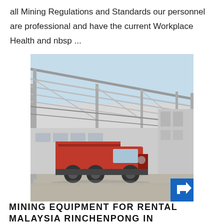all Mining Regulations and Standards our personnel are professional and have the current Workplace Health and nbsp ...
[Figure (photo): Industrial warehouse/factory structure under construction with steel roof framing and a red dump truck parked inside/in front of the building. Blue sky visible through the open roof structure.]
MINING EQUIPMENT FOR RENTAL MALAYSIA RINCHENPONG IN